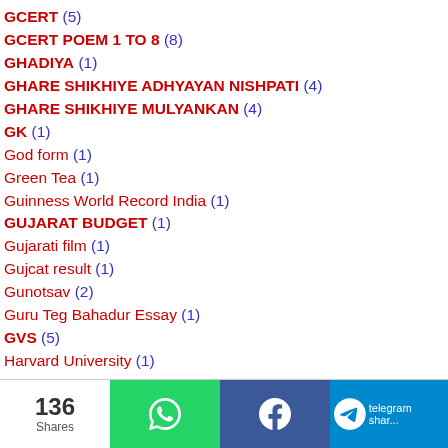GCERT (5)
GCERT POEM 1 TO 8 (8)
GHADIYA (1)
GHARE SHIKHIYE ADHYAYAN NISHPATI (4)
GHARE SHIKHIYE MULYANKAN (4)
GK (1)
God form (1)
Green Tea (1)
Guinness World Record India (1)
GUJARAT BUDGET (1)
Gujarati film (1)
Gujcat result (1)
Gunotsav (2)
Guru Teg Bahadur Essay (1)
GVS (5)
Harvard University (1)
136 Shares | WhatsApp | Facebook | Telegram